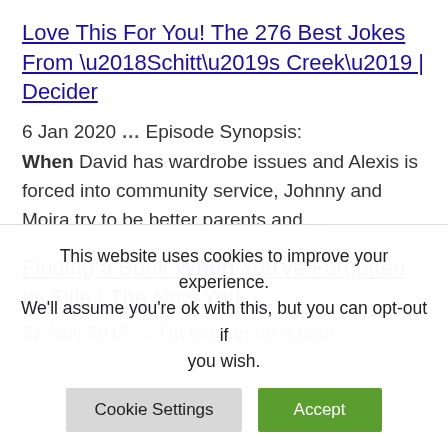Love This For You! The 276 Best Jokes From ‘Schitt’s Creek’ | Decider
6 Jan 2020 … Episode Synopsis: When David has wardrobe issues and Alexis is forced into community service, Johnny and Moira try to be better parents and …
Finding a Book When You’ve Forgotten Its Title | The New York …
22 Nov 2017 … I’m looking for a book
This website uses cookies to improve your experience. We’ll assume you’re ok with this, but you can opt-out if you wish.